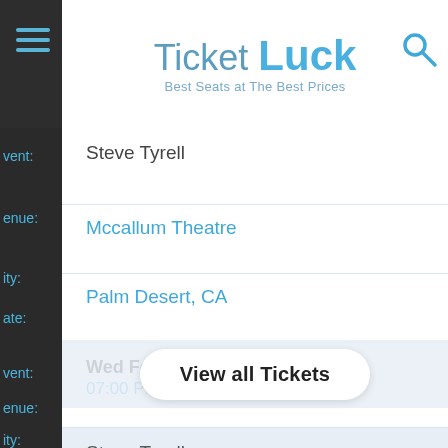[Figure (logo): TicketLuck logo with tagline 'Best Seats at The Best Prices']
| Field | Value |
| --- | --- |
| Event: | Steve Tyrell |
| Venue: | Mccallum Theatre |
| City: | Palm Desert, CA |
| Date: | Wed Feb 22 2023 07:00 PM |
| Event: | Steve Tyrell |
| Venue: | Grand 1894 Opera House |
| City: |  |
| Date: | Sat May 20 2023 |
View all Tickets